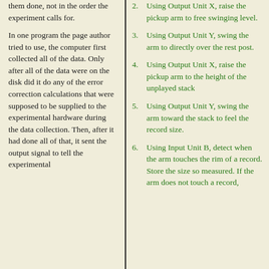them done, not in the order the experiment calls for.
In one program the page author tried to use, the computer first collected all of the data. Only after all of the data were on the disk did it do any of the error correction calculations that were supposed to be supplied to the experimental hardware during the data collection. Then, after it had done all of that, it sent the output signal to tell the experimental
2. Using Output Unit X, raise the pickup arm to free swinging level.
3. Using Output Unit Y, swing the arm to directly over the rest post.
4. Using Output Unit X, raise the pickup arm to the height of the unplayed stack
5. Using Output Unit Y, swing the arm toward the stack to feel the record size.
6. Using Input Unit B, detect when the arm touches the rim of a record. Store the size so measured. If the arm does not touch a record,